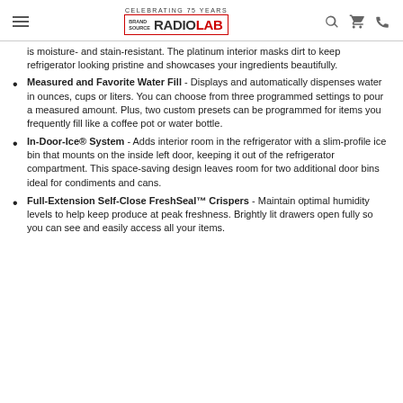Brand Source Radio Lab - Celebrating 75 Years
is moisture- and stain-resistant. The platinum interior masks dirt to keep refrigerator looking pristine and showcases your ingredients beautifully.
Measured and Favorite Water Fill - Displays and automatically dispenses water in ounces, cups or liters. You can choose from three programmed settings to pour a measured amount. Plus, two custom presets can be programmed for items you frequently fill like a coffee pot or water bottle.
In-Door-Ice® System - Adds interior room in the refrigerator with a slim-profile ice bin that mounts on the inside left door, keeping it out of the refrigerator compartment. This space-saving design leaves room for two additional door bins ideal for condiments and cans.
Full-Extension Self-Close FreshSeal™ Crispers - Maintain optimal humidity levels to help keep produce at peak freshness. Brightly lit drawers open fully so you can see and easily access all your items.